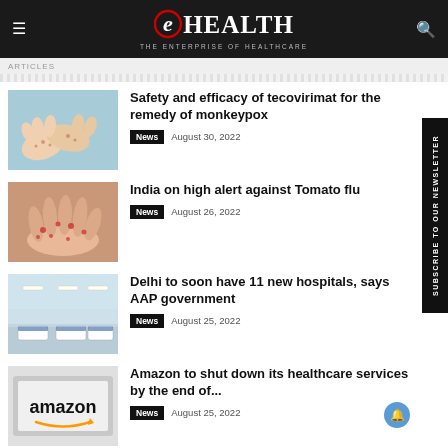eHEALTH — THE ENTERPRISE OF HEALTHCARE
Safety and efficacy of tecovirimat for the remedy of monkeypox — News — August 30, 2022
India on high alert against Tomato flu — News — August 26, 2022
Delhi to soon have 11 new hospitals, says AAP government — News — August 25, 2022
Amazon to shut down its healthcare services by the end of... — News — August 25, 2022